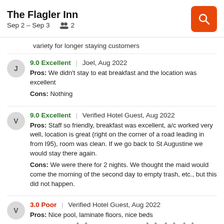The Flagler Inn — Sep 2 – Sep 3 — 2 guests
variety for longer staying customers
9.0 Excellent | Joel, Aug 2022
Pros: We didn't stay to eat breakfast and the location was excellent
Cons: Nothing
9.0 Excellent | Verified Hotel Guest, Aug 2022
Pros: Staff so friendly, breakfast was excellent, a/c worked very well, location is great (right on the corner of a road leading in from I95), room was clean. If we go back to St Augustine we would stay there again.
Cons: We were there for 2 nights. We thought the maid would come the morning of the second day to empty trash, etc., but this did not happen.
3.0 Poor | Verified Hotel Guest, Aug 2022
Pros: Nice pool, laminate floors, nice beds
Cons: 1 mama Â¿Â¿ and several baby Â¿Â¿ Â¿Â¿ Â¿Â¿ One of